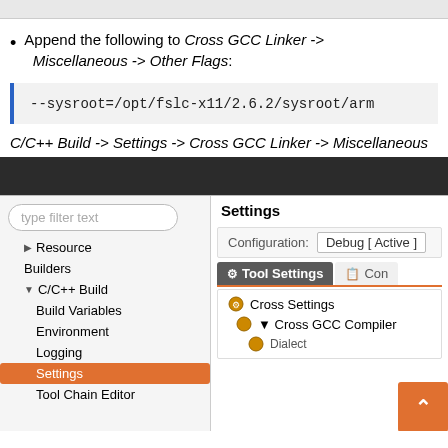Append the following to Cross GCC Linker -> Miscellaneous -> Other Flags:
--sysroot=/opt/fslc-x11/2.6.2/sysroot/arm
C/C++ Build -> Settings -> Cross GCC Linker -> Miscellaneous
[Figure (screenshot): Eclipse IDE settings dialog showing a tree on the left with filter text box, Resource, Builders, C/C++ Build (expanded) with Build Variables, Environment, Logging, Settings (selected/highlighted in orange), Tool Chain Editor. Right panel shows Settings header, Configuration: Debug [Active] dropdown, Tool Settings tab (active, orange underline), Con(figurations) tab partially visible, and a tool tree showing Cross Settings and Cross GCC Compiler items. An orange scroll-to-top button is visible in the lower right.]